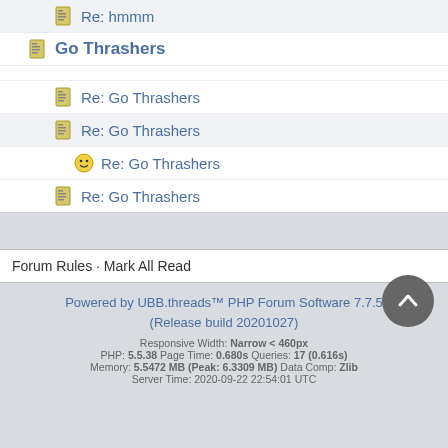Re: hmmm
Go Thrashers
Re: Go Thrashers
Re: Go Thrashers
Re: Go Thrashers
Re: Go Thrashers
Forum Rules · Mark All Read
Powered by UBB.threads™ PHP Forum Software 7.7.5
(Release build 20201027)
Responsive Width: Narrow < 460px
PHP: 5.5.38 Page Time: 0.680s Queries: 17 (0.616s)
Memory: 5.5472 MB (Peak: 6.3309 MB) Data Comp: Zlib
Server Time: 2020-09-22 22:54:01 UTC